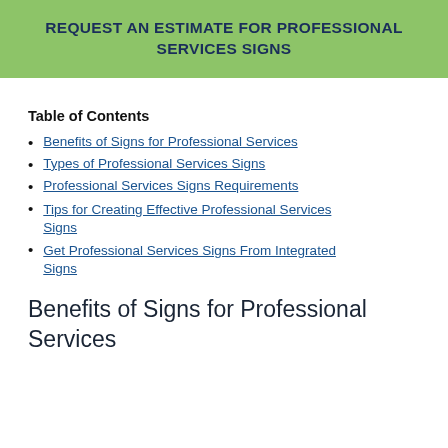REQUEST AN ESTIMATE FOR PROFESSIONAL SERVICES SIGNS
Table of Contents
Benefits of Signs for Professional Services
Types of Professional Services Signs
Professional Services Signs Requirements
Tips for Creating Effective Professional Services Signs
Get Professional Services Signs From Integrated Signs
Benefits of Signs for Professional Services